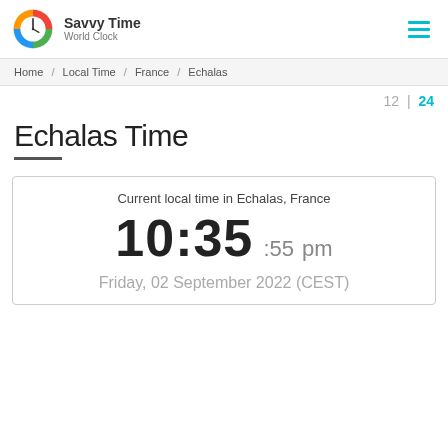Savvy Time World Clock
Home / Local Time / France / Echalas
12 | 24
Echalas Time
Current local time in Echalas, France
10:35 :55 pm
Friday, 02 September 2022 (CEST)